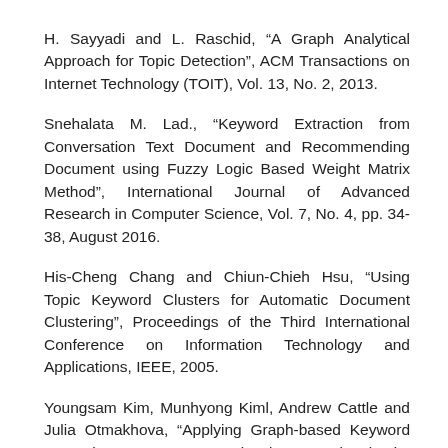H. Sayyadi and L. Raschid, “A Graph Analytical Approach for Topic Detection”, ACM Transactions on Internet Technology (TOIT), Vol. 13, No. 2, 2013.
Snehalata M. Lad., “Keyword Extraction from Conversation Text Document and Recommending Document using Fuzzy Logic Based Weight Matrix Method”, International Journal of Advanced Research in Computer Science, Vol. 7, No. 4, pp. 34-38, August 2016.
His-Cheng Chang and Chiun-Chieh Hsu, “Using Topic Keyword Clusters for Automatic Document Clustering”, Proceedings of the Third International Conference on Information Technology and Applications, IEEE, 2005.
Youngsam Kim, Munhyong Kiml, Andrew Cattle and Julia Otmakhova, “Applying Graph-based Keyword Extraction to Document Retrieval”, International Joint Conference on